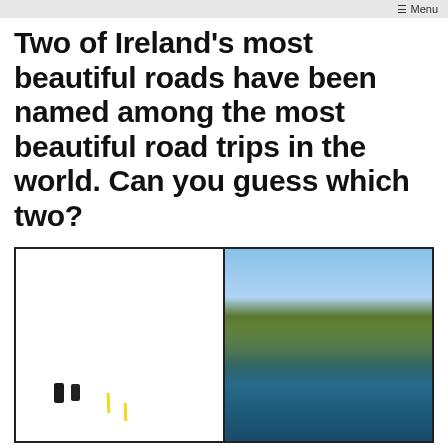≡ Menu
Two of Ireland's most beautiful roads have been named among the most beautiful road trips in the world. Can you guess which two?
[Figure (photo): Two side-by-side landscape photos of Ireland. Left photo: motorcyclists riding on a winding road through green hills and mountains. Right photo: aerial view of dramatic coastal cliffs with green fields meeting the turquoise sea.]